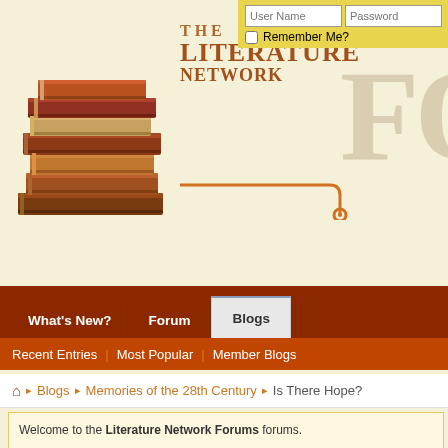[Figure (illustration): The Literature Network Forums website header with stacked books logo on left, site title text in center, partial 'FO' letters on right, and login fields (User Name, Password, Remember Me checkbox) in top-right yellow bar]
What's New? | Forum | Blogs (active tab) | Recent Entries | Most Popular | Member Blogs
Blogs > Memories of the 28th Century > Is There Hope?
Welcome to the Literature Network Forums forums. You are currently viewing our boards as a guest which gives you limited access our other features. By joining our free community you will have access to post topics, communicate privately with other members (PM), respond to polls, upload content and access many other special features. Registration is fast, simple and absolutely free so please, join our community today! If you have any problems with the registration process or your account log